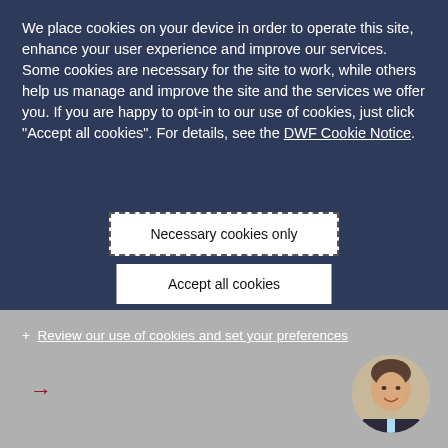We place cookies on your device in order to operate this site, enhance your user experience and improve our services. Some cookies are necessary for the site to work, while others help us manage and improve the site and the services we offer you. If you are happy to opt-in to our use of cookies, just click "Accept all cookies". For details, see the DWF Cookie Notice.
Necessary cookies only
Accept all cookies
+ Review our use of cookies and set your preferences
[Figure (photo): Circular portrait photo of a man in a suit, smiling, visible in bottom-right corner]